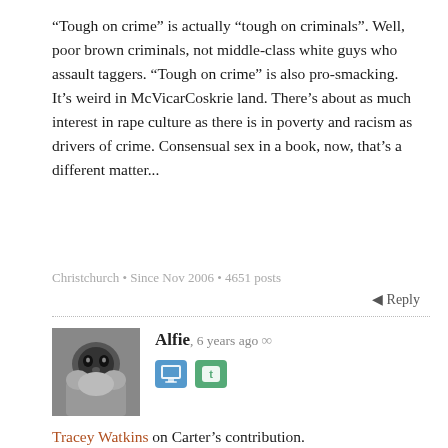“Tough on crime” is actually “tough on criminals”. Well, poor brown criminals, not middle-class white guys who assault taggers. “Tough on crime” is also pro-smacking. It’s weird in McVicarCoskrie land. There’s about as much interest in rape culture as there is in poverty and racism as drivers of crime. Consensual sex in a book, now, that’s a different matter...
Christchurch • Since Nov 2006 • 4651 posts
Reply
Alfie, 6 years ago
Tracey Watkins on Carter’s contribution.
Parliament’s Speaker David Carter could have defused the situation on Wednesday after admitting he erred in not making the prime minister apologise for unparliamentary behaviour over his comments on Tuesday.